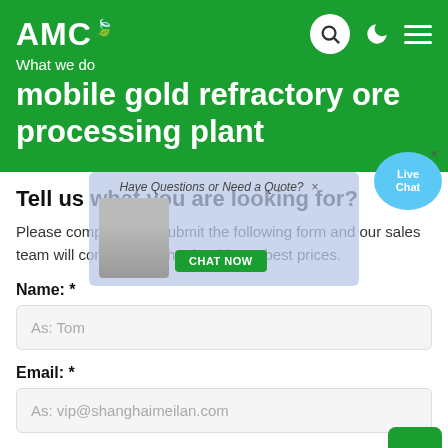AMC
What we do
mobile gold refractory ore processing plant
Tell us what you are looking for?
Please complete and submit the following form and our sales team will contact you shortly with our best prices.
Name: *
As: Tom
Email: *
As: vip@shanghaimeilan.com
Phone: *